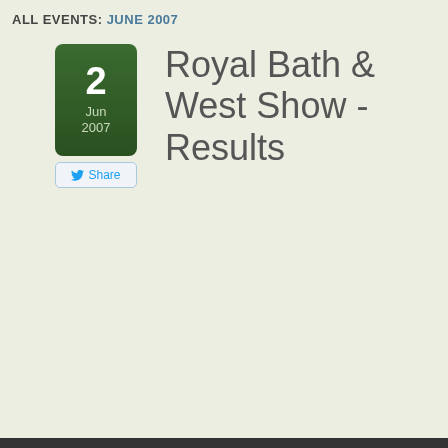ALL EVENTS: JUNE 2007
Royal Bath & West Show - Results
2 Jun 2007
Share